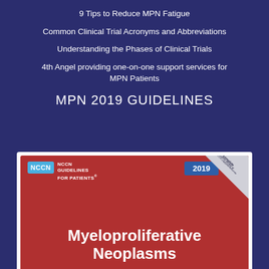9 Tips to Reduce MPN Fatigue
Common Clinical Trial Acronyms and Abbreviations
Understanding the Phases of Clinical Trials
4th Angel providing one-on-one support services for MPN Patients
MPN 2019 GUIDELINES
[Figure (illustration): NCCN Guidelines for Patients 2019 book cover for Myeloproliferative Neoplasms, red cover with NCCN logo and badge, corner fold with survey text]